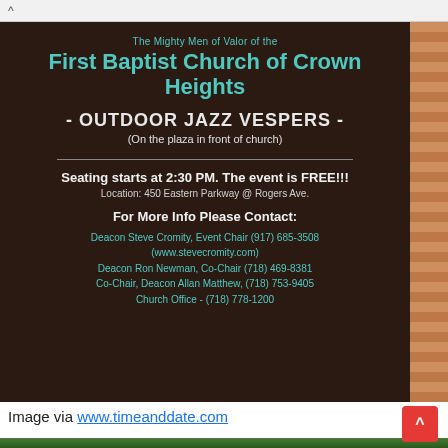[Figure (photo): Dark brown sign for First Baptist Church of Crown Heights announcing Outdoor Jazz Vespers, with teal/cyan text on brown background, with partial brick building visible on right]
Image via www.timeanddate.com
[Figure (photo): Waterfall scene with lush green vegetation and rainbow, partial view at bottom of page]